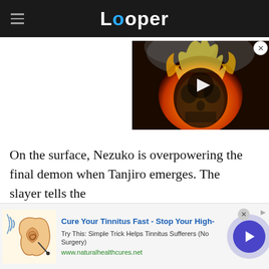Looper
[Figure (screenshot): Video thumbnail showing a flaming skull character with a play button overlay, from a streaming/video player widget]
On the surface, Nezuko is overpowering the final demon when Tanjiro emerges. The slayer tells the
[Figure (infographic): Advertisement banner: Cure Your Tinnitus Fast - Stop Your High- | Try This: Simple Trick Helps Tinnitus Sufferers (No Surgery) | www.naturalhealthcures.net | with ear anatomy illustration and navigation arrow button]